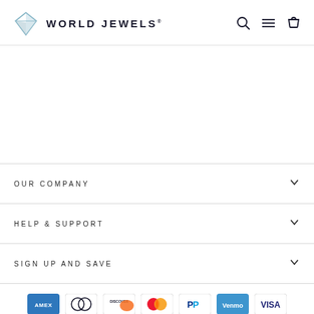[Figure (logo): World Jewels logo with diamond icon and text]
OUR COMPANY
HELP & SUPPORT
SIGN UP AND SAVE
[Figure (infographic): Payment method icons: Amex, Diners Club, Discover, Mastercard, PayPal, Venmo, Visa]